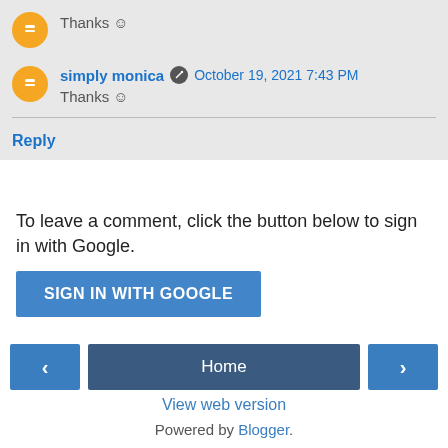Thanks ☺
simply monica  October 19, 2021 7:43 PM
Thanks ☺
Reply
To leave a comment, click the button below to sign in with Google.
SIGN IN WITH GOOGLE
‹  Home  ›
View web version
Powered by Blogger.